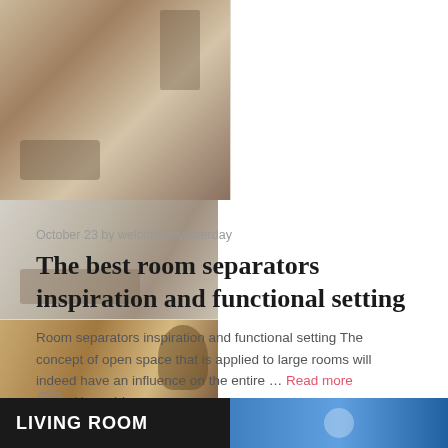[Figure (photo): Collage of three interior room photos showing bedroom with wooden walls on the left, living room with sofa and glass table on the upper right, and a wicker basket in a wood-paneled room on the lower right.]
October 23 by welcometoyesterday
The best room separators inspiration and functional setting
Room separators inspiration and functional setting The concept of open space that is applied to large rooms will indeed have an influence on the entire … Read more
Home Ideas
Dividers, Room Separators
[Figure (photo): Bottom preview strip showing 'LIVING ROOM' text on dark background on the left and a blue-toned room interior on the right.]